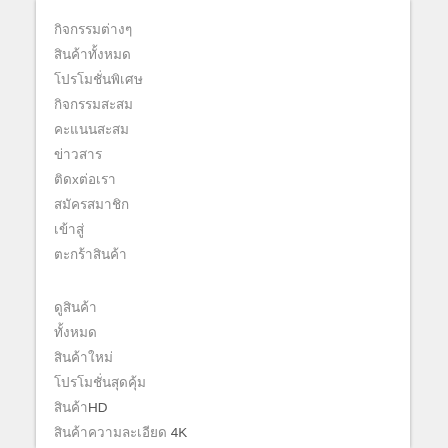กิจกรรมต่างๆ
สินค้าทั้งหมด
โปรโมชั่นพิเศษ
กิจกรรมสะสม
คะแนนสะสม
ข่าวสาร
ติดxต่อเรา
สมัครสมาชิก
เข้าสู่
ตะกร้าสินค้า
ดูสินค้า
ทั้งหมด
สินค้าใหม่
โปรโมชั่นสุดคุ้ม
สินค้าHD
สินค้าความละเอียด 4K
สินค้าราคา
dreamgame